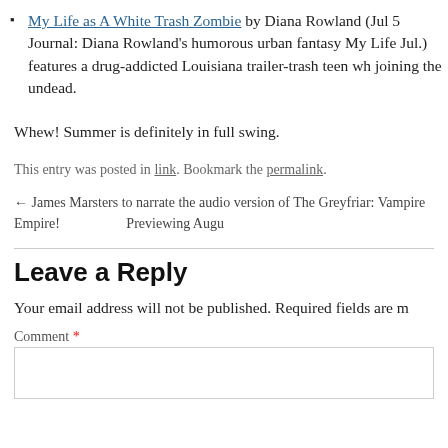My Life as A White Trash Zombie by Diana Rowland (Jul 5 — Journal: Diana Rowland's humorous urban fantasy My Life (Jul.) features a drug-addicted Louisiana trailer-trash teen who joining the undead.
Whew! Summer is definitely in full swing.
This entry was posted in link. Bookmark the permalink.
← James Marsters to narrate the audio version of The Greyfriar: Vampire Empire!  Previewing Augu
Leave a Reply
Your email address will not be published. Required fields are m
Comment *